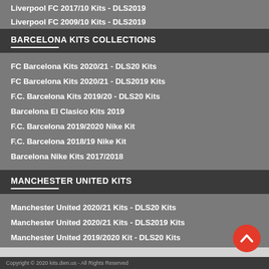Liverpool FC 2017/10 Kits - DLS2019
Liverpool FC 2009/10 Kits - DLS2019
BARCELONA KITS COLLECTIONS
FC Barcelona Kits 2020/21 - DLS20 Kits
FC Barcelona Kits 2020/21 - DLS2019 Kits
F.C. Barcelona Kits 2019/20 - DLS20 Kits
Barcelona El Clasico Kits 2019
F.C. Barcelona 2019/2020 Nike Kit
F.C. Barcelona 2018/19 Nike Kit
Barcelona Nike Kits 2017/2018
MANCHESTER UNITED KITS
Manchester United 2020/21 Kits - DLS20 Kits
Manchester United 2020/21 Kits - DLS2019 Kits
Manchester United 2019/2020 Kit - DLS20 Kits
Manchester United 2019/2020 Kit
Manchester United 2018/19 Kit
Copyright © 2020 kits.dwn.us - All Rights Reserved